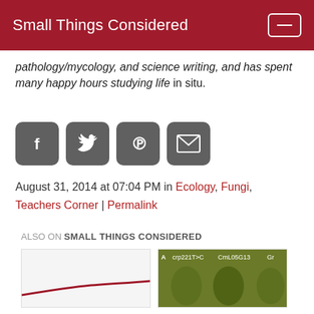Small Things Considered
pathology/mycology, and science writing, and has spent many happy hours studying life in situ.
[Figure (infographic): Four social sharing buttons: Facebook (f), Twitter (bird), Pinterest (P), and Email (envelope) icons in dark grey rounded squares.]
August 31, 2014 at 07:04 PM in Ecology, Fungi, Teachers Corner | Permalink
ALSO ON SMALL THINGS CONSIDERED
[Figure (photo): Two thumbnail images side by side. Left thumbnail shows a red curved line on white background. Right thumbnail shows green insects/bugs labeled with crp221T>C, CmL05G13, Gr.]